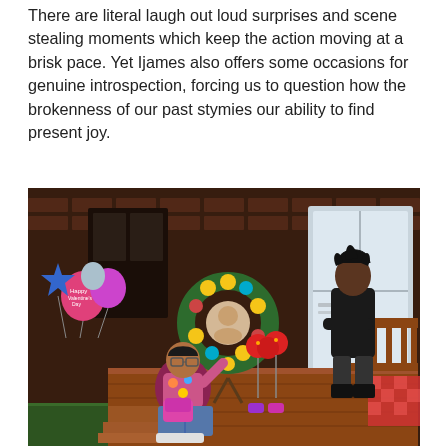There are literal laugh out loud surprises and scene stealing moments which keep the action moving at a brisk pace. Yet Ijames also offers some occasions for genuine introspection, forcing us to question how the brokenness of our past stymies our ability to find present joy.
[Figure (photo): Theater stage scene showing two actors on a wooden porch/deck set. One actor sits on the ground in colorful clothing with glasses, another stands on the deck in dark clothing with arms crossed. There are Valentine's Day balloons, a floral memorial wreath on a stand, red balloons on sticks, and a brick building backdrop with windows.]